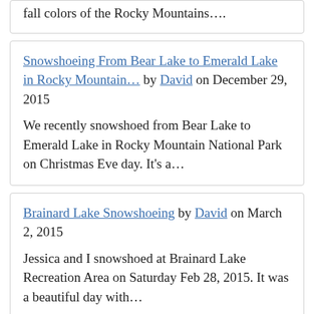Recreation Area recently to drink in the fall colors of the Rocky Mountains….
Snowshoeing From Bear Lake to Emerald Lake in Rocky Mountain… by David on December 29, 2015
We recently snowshoed from Bear Lake to Emerald Lake in Rocky Mountain National Park on Christmas Eve day. It's a…
Brainard Lake Snowshoeing by David on March 2, 2015
Jessica and I snowshoed at Brainard Lake Recreation Area on Saturday Feb 28, 2015. It was a beautiful day with…